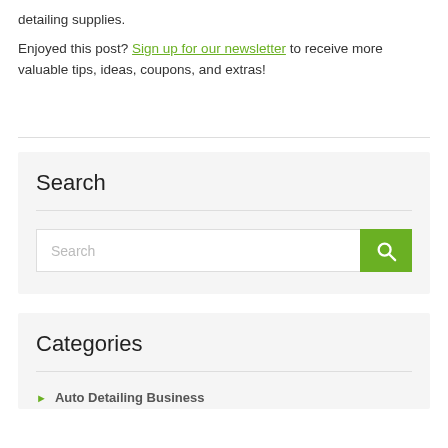detailing supplies.
Enjoyed this post? Sign up for our newsletter to receive more valuable tips, ideas, coupons, and extras!
Search
Search
Categories
Auto Detailing Business